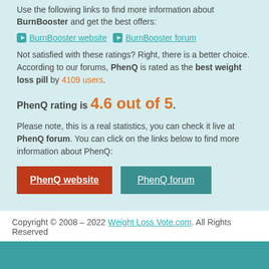Use the following links to find more information about BurnBooster and get the best offers:
BurnBooster website
BurnBooster forum
Not satisfied with these ratings? Right, there is a better choice. According to our forums, PhenQ is rated as the best weight loss pill by 4109 users.
PhenQ rating is 4.6 out of 5.
Please note, this is a real statistics, you can check it live at PhenQ forum. You can click on the links below to find more information about PhenQ:
PhenQ website
PhenQ forum
Copyright © 2008 – 2022 Weight Loss Vote.com. All Rights Reserved